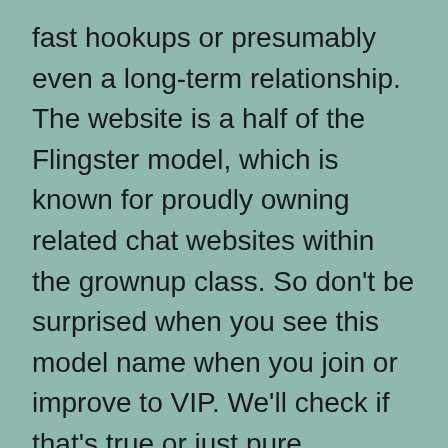fast hookups or presumably even a long-term relationship. The website is a half of the Flingster model, which is known for proudly owning related chat websites within the grownup class. So don't be surprised when you see this model name when you join or improve to VIP. We'll check if that's true or just pure advertising baloney. This is a one-stop-shop for one factor solely and that's to attach you to strangers around the globe by the use of webcam. It is easy to say that chatting in DirtyRoulette opens your world to completely totally different varieties of people, pursuits,